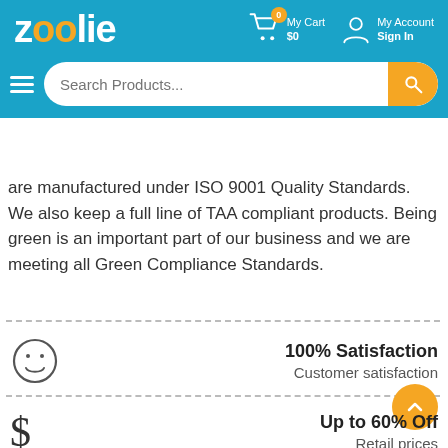zoolie — My Cart $0 | My Account Sign In
[Figure (screenshot): Zoolie e-commerce website header with logo, cart, account icons, and search bar]
are manufactured under ISO 9001 Quality Standards. We also keep a full line of TAA compliant products. Being green is an important part of our business and we are meeting all Green Compliance Standards.
100% Satisfaction
Customer satisfaction
Up to 60% Off
Retail prices